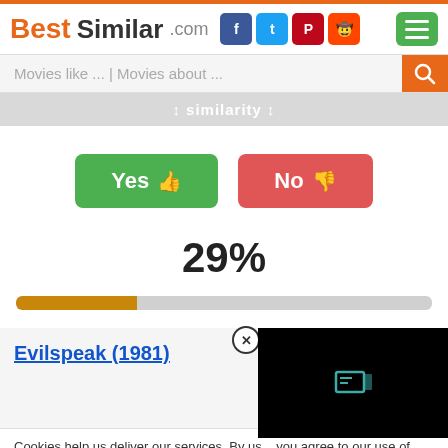[Figure (screenshot): BestSimilar.com website header with logo, social media icons (Facebook, Twitter, Pinterest, Reddit), and hamburger menu button]
[Figure (screenshot): Search bar with placeholder text 'Movies like ... | Movies about ...' and orange search button]
↕ similarity ↕
[Figure (infographic): Yes (thumbs up) and No (thumbs down) voting buttons in green and red]
29%
[Figure (infographic): Progress bar showing 29% filled in gold/orange color on grey background]
Evilspeak (1981)
[Figure (screenshot): Black video player box with teal/green icon]
Cookies help us deliver our services. By us... you agree to our use of cookies as describe...
Preferences
Accept